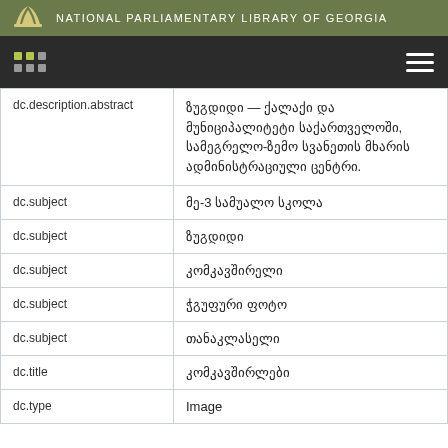NATIONAL PARLIAMENTARY LIBRARY OF GEORGIA
| Field | Value |
| --- | --- |
| dc.description.abstract | ზუგდიდი — ქალაქი და მუნიციპალიტეტი საქართველოში, სამეგრელო-ზემო სვანეთის მხარის ადმინისტრაციული ცენტრი. |
| dc.subject | მე-3 სამუალო სკოლა |
| dc.subject | ზუგდიდი |
| dc.subject | კომკავშირელი |
| dc.subject | ჭგუფური ფოტო |
| dc.subject | თანაკლასელი |
| dc.title | კომკავშირლები |
| dc.type | Image |